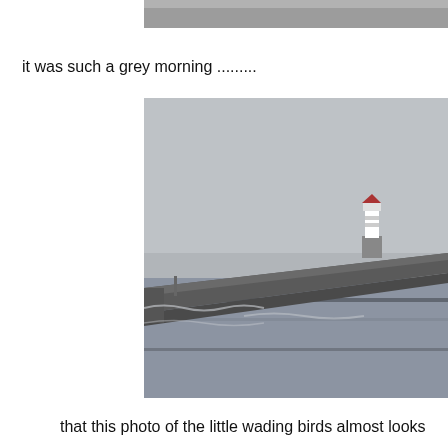[Figure (photo): Top portion of a grey misty coastal photo, cropped — partial view visible at top of page]
it was such a grey morning .........
[Figure (photo): A grey, misty morning coastal scene showing a stone pier/breakwater extending into the sea, with a white lighthouse featuring a red top at the far end. The water is calm and grey, matching the overcast sky.]
that this photo of the little wading birds almost looks